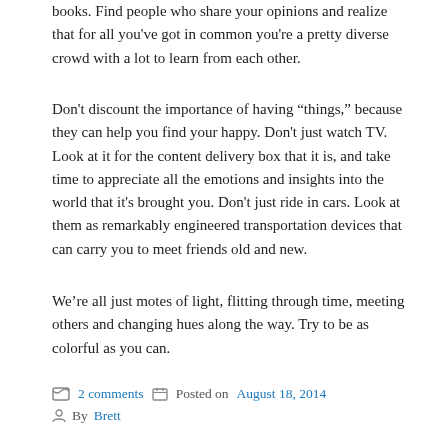books. Find people who share your opinions and realize that for all you've got in common you're a pretty diverse crowd with a lot to learn from each other.
Don't discount the importance of having “things,” because they can help you find your happy. Don't just watch TV. Look at it for the content delivery box that it is, and take time to appreciate all the emotions and insights into the world that it's brought you. Don't just ride in cars. Look at them as remarkably engineered transportation devices that can carry you to meet friends old and new.
We’re all just motes of light, flitting through time, meeting others and changing hues along the way. Try to be as colorful as you can.
2 comments  Posted on August 18, 2014  By Brett